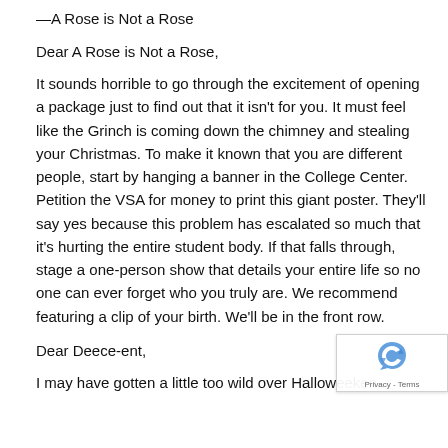—A Rose is Not a Rose
Dear A Rose is Not a Rose,
It sounds horrible to go through the excitement of opening a package just to find out that it isn't for you. It must feel like the Grinch is coming down the chimney and stealing your Christmas. To make it known that you are different people, start by hanging a banner in the College Center. Petition the VSA for money to print this giant poster. They'll say yes because this problem has escalated so much that it's hurting the entire student body. If that falls through, stage a one-person show that details your entire life so no one can ever forget who you truly are. We recommend featuring a clip of your birth. We'll be in the front row.
Dear Deece-ent,
I may have gotten a little too wild over Halloweeken...